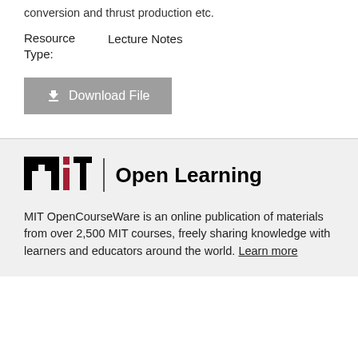conversion and thrust production etc.
Resource Type:
Lecture Notes
Download File
[Figure (logo): MIT Open Learning logo with MIT logotype in black and red, vertical divider, and 'Open Learning' text in bold black]
MIT OpenCourseWare is an online publication of materials from over 2,500 MIT courses, freely sharing knowledge with learners and educators around the world. Learn more